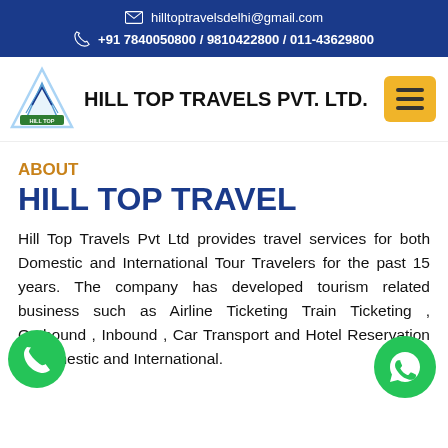hilltoptravelsdelhi@gmail.com | +91 7840050800 / 9810422800 / 011-43629800
HILL TOP TRAVELS PVT. LTD.
ABOUT
HILL TOP TRAVEL
Hill Top Travels Pvt Ltd provides travel services for both Domestic and International Tour Travelers for the past 15 years. The company has developed tourism related business such as Airline Ticketing Train Ticketing , Outbound , Inbound , Car Transport and Hotel Reservation in Domestic and International.